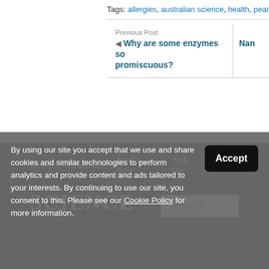Tags: allergies, australian science, health, peanut
Previous Post
Why are some enzymes so promiscuous?
Nano
News  Features  Bull's-Eye  Ask Us  Video
[Figure (logo): Science Illustrated logo with search box]
By using our site you accept that we use and share cookies and similar technologies to perform analytics and provide content and ads tailored to your interests. By continuing to use our site, you consent to this. Please see our Cookie Policy for more information.